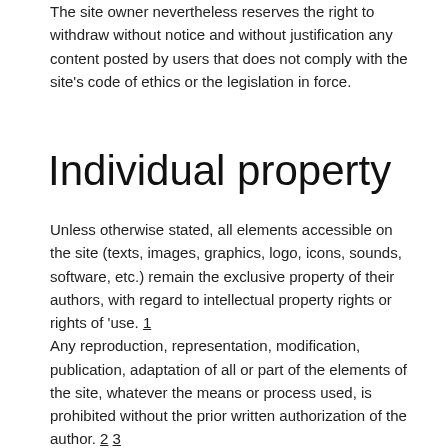The site owner nevertheless reserves the right to withdraw without notice and without justification any content posted by users that does not comply with the site's code of ethics or the legislation in force.
Individual property
Unless otherwise stated, all elements accessible on the site (texts, images, graphics, logo, icons, sounds, software, etc.) remain the exclusive property of their authors, with regard to intellectual property rights or rights of 'use. 1 Any reproduction, representation, modification, publication, adaptation of all or part of the elements of the site, whatever the means or process used, is prohibited without the prior written authorization of the author. 2 3 Any unauthorized use of the site or any of the elements it contains is considered to